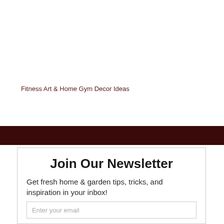Fitness Art & Home Gym Decor Ideas
[Figure (other): Dark maroon horizontal banner bar]
Join Our Newsletter
Get fresh home & garden tips, tricks, and inspiration in your inbox!
Enter your email